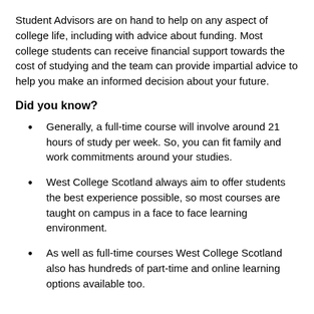Student Advisors are on hand to help on any aspect of college life, including with advice about funding. Most college students can receive financial support towards the cost of studying and the team can provide impartial advice to help you make an informed decision about your future.
Did you know?
Generally, a full-time course will involve around 21 hours of study per week. So, you can fit family and work commitments around your studies.
West College Scotland always aim to offer students the best experience possible, so most courses are taught on campus in a face to face learning environment.
As well as full-time courses West College Scotland also has hundreds of part-time and online learning options available too.